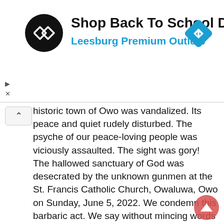[Figure (infographic): Advertisement banner for Leesburg Premium Outlets with a circular dark logo with double arrow icon, bold text 'Shop Back To School Deals', blue subtitle 'Leesburg Premium Outlets', and a blue diamond-shaped navigation arrow icon on the right.]
historic town of Owo was vandalized. Its peace and quiet rudely disturbed. The psyche of our peace-loving people was viciously assaulted. The sight was gory! The hallowed sanctuary of God was desecrated by the unknown gunmen at the St. Francis Catholic Church, Owaluwa, Owo on Sunday, June 5, 2022. We condemn this barbaric act. We say without mincing words that this kind of behaviour has no place in a civilized society and in a country under law. We must, therefore, fish out the vile elements and bring them to book. Impunity reigns when criminals escape with their acts of criminality. The three tiers of Government – Federal, State, and Local – must swing into action and bring the fleeing